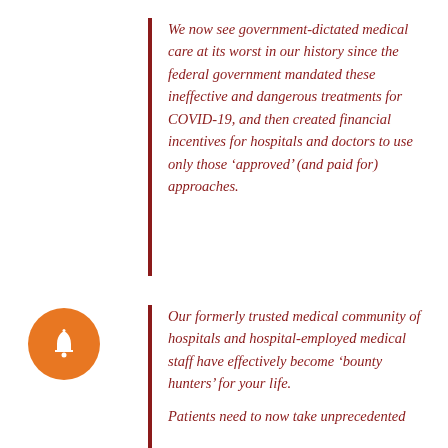We now see government-dictated medical care at its worst in our history since the federal government mandated these ineffective and dangerous treatments for COVID-19, and then created financial incentives for hospitals and doctors to use only those ‘approved’ (and paid for) approaches.
Our formerly trusted medical community of hospitals and hospital-employed medical staff have effectively become ‘bounty hunters’ for your life.
Patients need to now take unprecedented
[Figure (illustration): Orange circular bell notification icon]